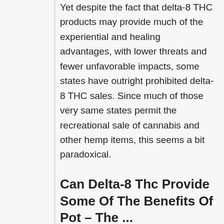Yet despite the fact that delta-8 THC products may provide much of the experiential and healing advantages, with lower threats and fewer unfavorable impacts, some states have outright prohibited delta-8 THC sales. Since much of those very same states permit the recreational sale of cannabis and other hemp items, this seems a bit paradoxical.
Can Delta-8 Thc Provide Some Of The Benefits Of Pot – The ...
Cannabis laws remain a patchwork of policies and regulations. With